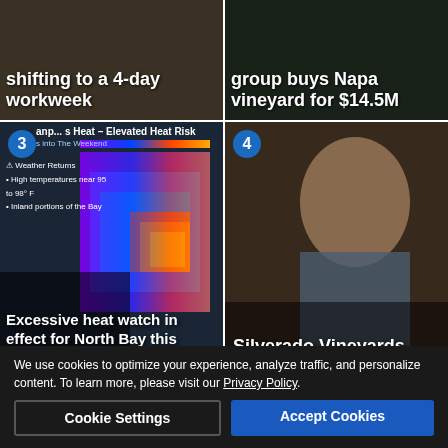[Figure (screenshot): News thumbnail showing text about shifting to a 4-day workweek]
shifting to a 4-day workweek
[Figure (screenshot): News thumbnail about group buys Napa vineyard for $14.5M]
group buys Napa vineyard for $14.5M
[Figure (screenshot): Item 3 - Excessive heat watch weather map for North Bay area]
Excessive heat watch in effect for North Bay this weekend. How hot is it going to
[Figure (photo): Item 4 - Woman with blonde hair sitting in restaurant/winery setting]
Silverado Vineyards hires new winemaker
[Figure (infographic): Advertisement banner for flySTS.com - Ready to travel? We're here! BOOK NOW www.flySTS.com with QR code]
We use cookies to optimize your experience, analyze traffic, and personalize content. To learn more, please visit our Privacy Policy.
Cookie Settings
Accept Cookies